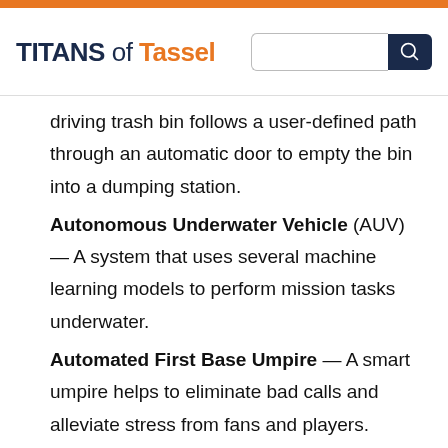TITANS of Tassel
driving trash bin follows a user-defined path through an automatic door to empty the bin into a dumping station.
Autonomous Underwater Vehicle (AUV) — A system that uses several machine learning models to perform mission tasks underwater.
Automated First Base Umpire — A smart umpire helps to eliminate bad calls and alleviate stress from fans and players.
Neural Network Based Smart Door — A smart door that utilizes facial recognition and voice recognition to identify and provide access to registered users.